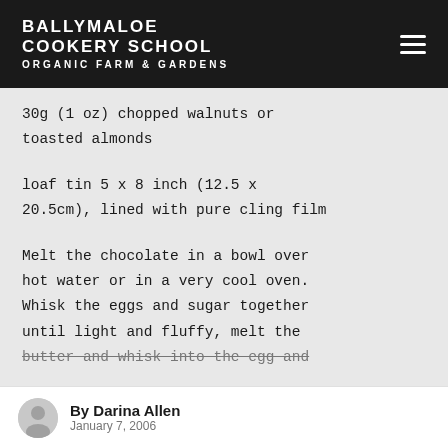BALLYMALOE COOKERY SCHOOL ORGANIC FARM & GARDENS
30g (1 oz) chopped walnuts or toasted almonds
loaf tin 5 x 8 inch (12.5 x 20.5cm), lined with pure cling film
Melt the chocolate in a bowl over hot water or in a very cool oven. Whisk the eggs and sugar together until light and fluffy, melt the butter and whisk into the egg and
By Darina Allen January 7, 2006